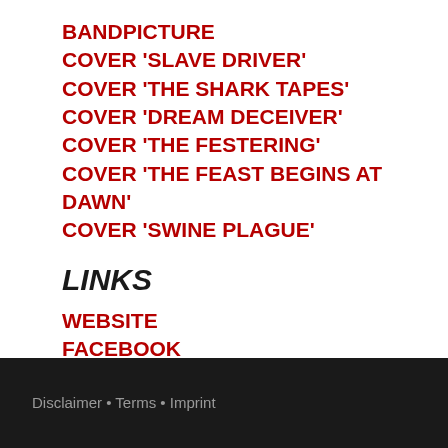BANDPICTURE
COVER 'SLAVE DRIVER'
COVER 'THE SHARK TAPES'
COVER 'DREAM DECEIVER'
COVER 'THE FESTERING'
COVER 'THE FEAST BEGINS AT DAWN'
COVER 'SWINE PLAGUE'
LINKS
WEBSITE
FACEBOOK
CONTACT
Disclaimer • Terms • Imprint